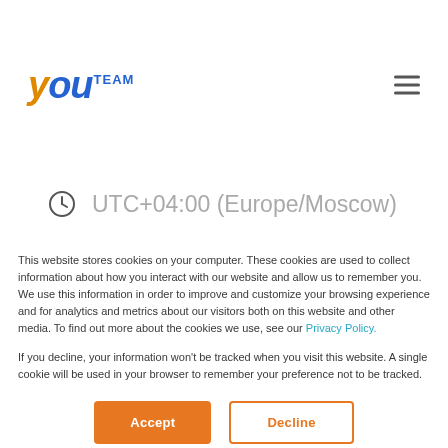[Figure (logo): YouTeam logo with stylized 'You' in blue and orange italic font and 'TEAM' in small caps blue text]
UTC+04:00 (Europe/Moscow)
This website stores cookies on your computer. These cookies are used to collect information about how you interact with our website and allow us to remember you. We use this information in order to improve and customize your browsing experience and for analytics and metrics about our visitors both on this website and other media. To find out more about the cookies we use, see our Privacy Policy.
If you decline, your information won't be tracked when you visit this website. A single cookie will be used in your browser to remember your preference not to be tracked.
Accept
Decline